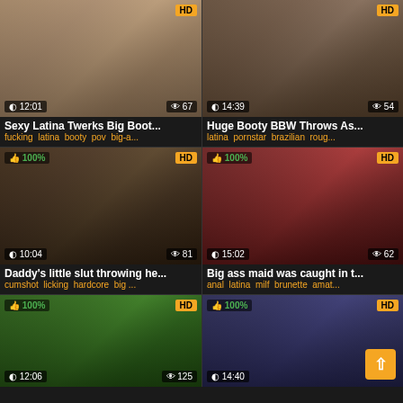[Figure (screenshot): Video thumbnail grid - adult video site with 6 video thumbnails in 2-column layout]
Sexy Latina Twerks Big Boot...
fucking latina booty pov big-a...
Huge Booty BBW Throws As...
latina pornstar brazilian roug...
Daddy's little slut throwing he...
cumshot licking hardcore big ...
Big ass maid was caught in t...
anal latina milf brunette amat...